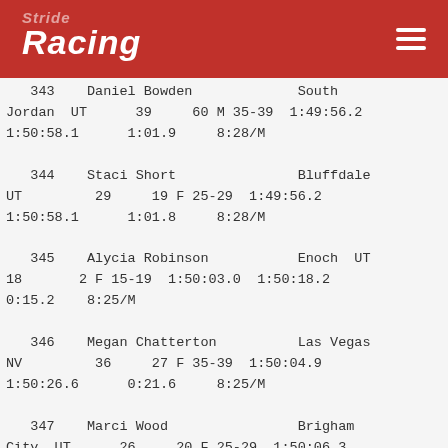Stride Racing
343   Daniel Bowden          South Jordan  UT      39     60 M 35-39  1:49:56.2  1:50:58.1      1:01.9     8:28/M
   344   Staci Short             Bluffdale UT        29     19 F 25-29  1:49:56.2  1:50:58.1      1:01.8     8:28/M
   345   Alycia Robinson         Enoch  UT  18      2 F 15-19  1:50:03.0  1:50:18.2  0:15.2    8:25/M
   346   Megan Chatterton         Las Vegas NV        36     27 F 35-39  1:50:04.9  1:50:26.6      0:21.6     8:25/M
   347   Marci Wood               Brigham City  UT      26     20 F 25-29  1:50:06.3  1:50:44.2      0:37.8     8:27/M